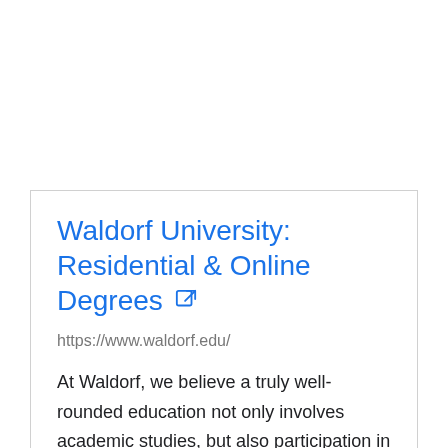Waldorf University: Residential & Online Degrees
https://www.waldorf.edu/
At Waldorf, we believe a truly well-rounded education not only involves academic studies, but also participation in the arts, physical education and more.
Total Visi...